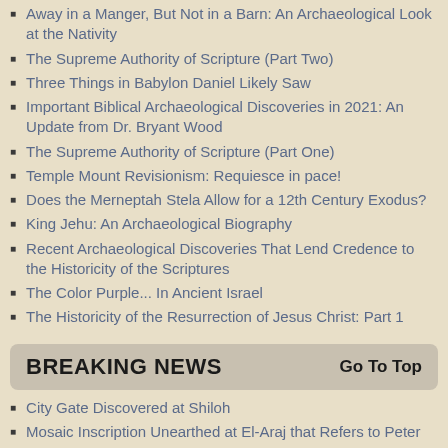Away in a Manger, But Not in a Barn: An Archaeological Look at the Nativity
The Supreme Authority of Scripture (Part Two)
Three Things in Babylon Daniel Likely Saw
Important Biblical Archaeological Discoveries in 2021: An Update from Dr. Bryant Wood
The Supreme Authority of Scripture (Part One)
Temple Mount Revisionism: Requiesce in pace!
Does the Merneptah Stela Allow for a 12th Century Exodus?
King Jehu: An Archaeological Biography
Recent Archaeological Discoveries That Lend Credence to the Historicity of the Scriptures
The Color Purple... In Ancient Israel
The Historicity of the Resurrection of Jesus Christ: Part 1
BREAKING NEWS
City Gate Discovered at Shiloh
Mosaic Inscription Unearthed at El-Araj that Refers to Peter
Roman Ballistics Study Affirms Josephus' Account of the Destruction of Jerusalem